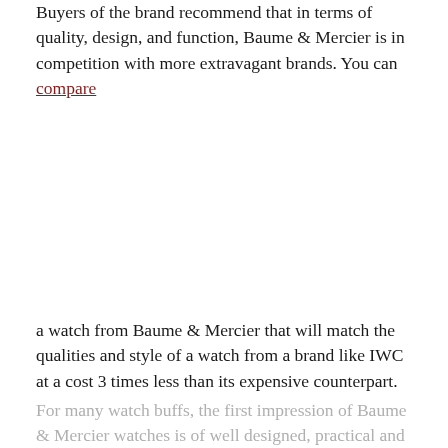Buyers of the brand recommend that in terms of quality, design, and function, Baume & Mercier is in competition with more extravagant brands. You can compare a watch from Baume & Mercier that will match the qualities and style of a watch from a brand like IWC at a cost 3 times less than its expensive counterpart.
For many watch buffs, the first impression of Baume & Mercier watches is of well designed, practical and easy to